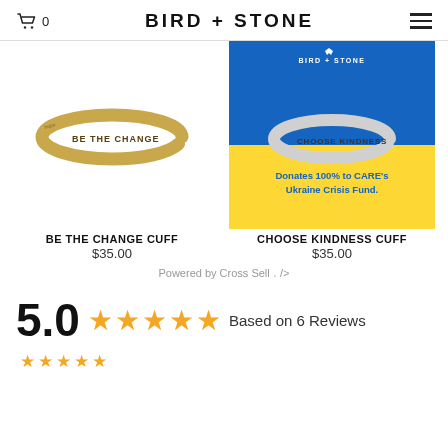🛒 0   BIRD + STONE   ≡
[Figure (photo): Gold cuff bracelet with engraved text BE THE CHANGE on white background]
[Figure (photo): Silver cuff bracelet engraved CHOOSE KINDNESS on blue and yellow Ukraine flag background with BIRD + STONE logo and text: Donates 100% to CARE's Ukraine Crisis Fund.]
BE THE CHANGE CUFF
$35.00
CHOOSE KINDNESS CUFF
$35.00
Powered by Cross Sell · />
5.0 ★★★★★ Based on 6 Reviews